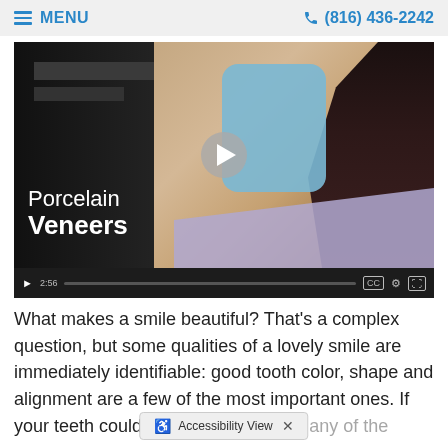MENU | (816) 436-2242
[Figure (screenshot): Video thumbnail showing a woman holding a blue hand mirror and smiling, with text 'Porcelain Veneers' overlaid and a play button in the center. Video duration shown as 2:56.]
What makes a smile beautiful? That's a complex question, but some qualities of a lovely smile are immediately identifiable: good tooth color, shape and alignment are a few of the most important ones. If your teeth could use improvement in any of these